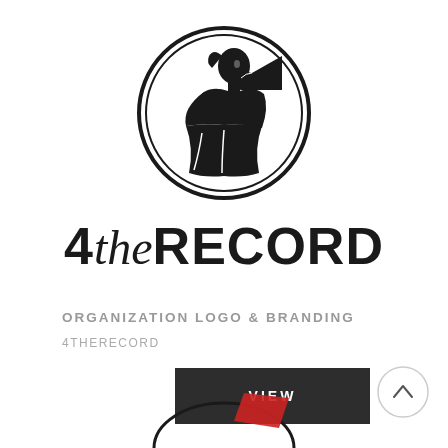[Figure (logo): Circular logo with a figure of a woman holding a megaphone/bullhorn, depicted in dark ink style within a double-ring circle border]
4theRECORD
ORGANIZATION LOGO & BRANDING
4THERECORD
[Figure (other): Dark button with text VIEW]
[Figure (other): Circle scroll-up navigation button with upward chevron arrow]
[Figure (other): Partial peek of another logo/image at the bottom of the page, red angular shape visible]